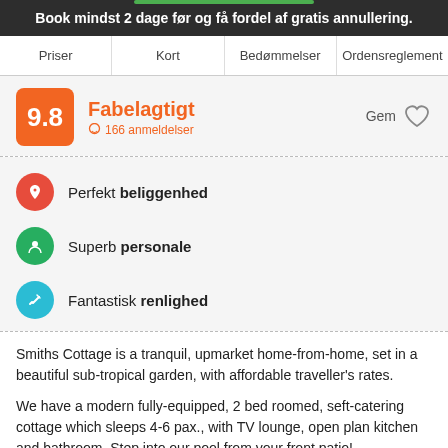Book mindst 2 dage før og få fordel af gratis annullering.
Priser | Kort | Bedømmelser | Ordensreglement
9.8 Fabelagtigt 166 anmeldelser Gem
Perfekt beliggenhed
Superb personale
Fantastisk renlighed
Smiths Cottage is a tranquil, upmarket home-from-home, set in a beautiful sub-tropical garden, with affordable traveller's rates.
We have a modern fully-equipped, 2 bed roomed, seft-catering cottage which sleeps 4-6 pax., with TV lounge, open plan kitchen and bathroom. Step into our pool from your front patio!